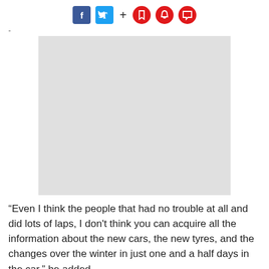f [Facebook] [Twitter] + [bookmark] [bell] [comment]
[Figure (photo): Light gray placeholder image rectangle]
“Even I think the people that had no trouble at all and did lots of laps, I don't think you can acquire all the information about the new cars, the new tyres, and the changes over the winter in just one and a half days in the car,” he added.